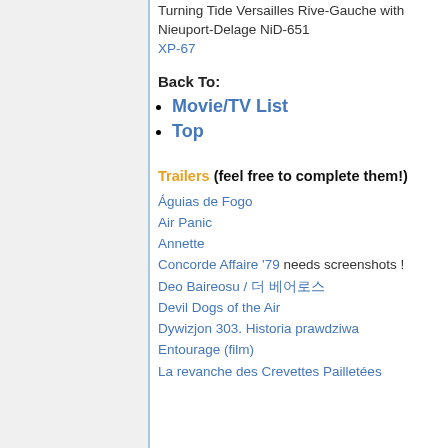Turning Tide Versailles Rive-Gauche with Nieuport-Delage NiD-651
XP-67
Back To:
Movie/TV List
Top
Trailers (feel free to complete them!)
Águias de Fogo
Air Panic
Annette
Concorde Affaire '79 needs screenshots !
Deo Baireosu / 더 베어로스
Devil Dogs of the Air
Dywizjon 303. Historia prawdziwa
Entourage (film)
La revanche des Crevettes Pailletées